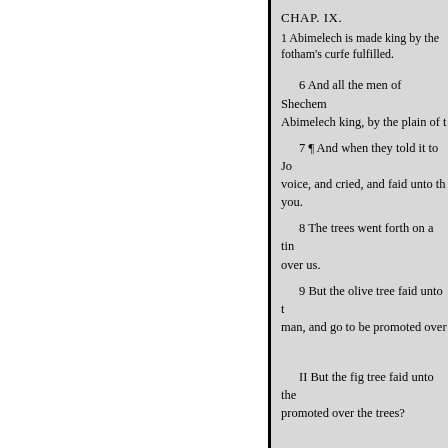CHAP. IX.
1 Abimelech is made king by the Shechemites. Jotham's curfe fulfilled.
6 And all the men of Shechem gathered together, and made Abimelech king, by the plain of the pillar that was in Shechem.
7 ¶ And when they told it to Jotham, he went and stood in the top of mount Gerizim, and lifted up his voice, and cried, and faid unto them; Hearken unto me, ye men of Shechem, that God may hearken unto you.
8 The trees went forth on a time to anoint a king over them; and they faid unto the olive tree, Reign thou over us.
9 But the olive tree faid unto them, Should I leave my fatness, wherewith by me they honour God and man, and go to be promoted over the trees?
II But the fig tree faid unto them, Should I forsake my sweetness, and my good fruit, and go to be promoted over the trees?
13 And the vine faid unto them, Should I leave my wine, which cheereth God and man, and go to be promoted over the trees?